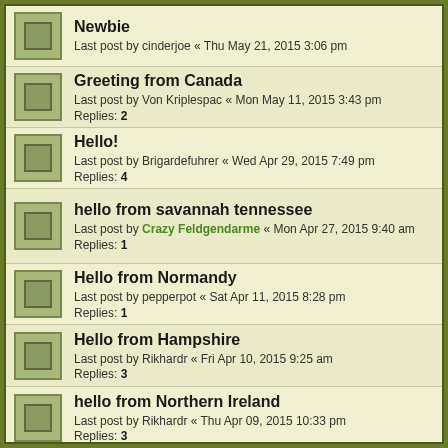Newbie
Last post by cinderjoe « Thu May 21, 2015 3:06 pm
Greeting from Canada
Last post by Von Kriplespac « Mon May 11, 2015 3:43 pm
Replies: 2
Hello!
Last post by Brigardefuhrer « Wed Apr 29, 2015 7:49 pm
Replies: 4
hello from savannah tennessee
Last post by Crazy Feldgendarme « Mon Apr 27, 2015 9:40 am
Replies: 1
Hello from Normandy
Last post by pepperpot « Sat Apr 11, 2015 8:28 pm
Replies: 1
Hello from Hampshire
Last post by Rikhardr « Fri Apr 10, 2015 9:25 am
Replies: 3
hello from Northern Ireland
Last post by Rikhardr « Thu Apr 09, 2015 10:33 pm
Replies: 3
Hello from kent.
Last post by liam h « Sun Apr 05, 2015 3:40 pm
Replies: 5